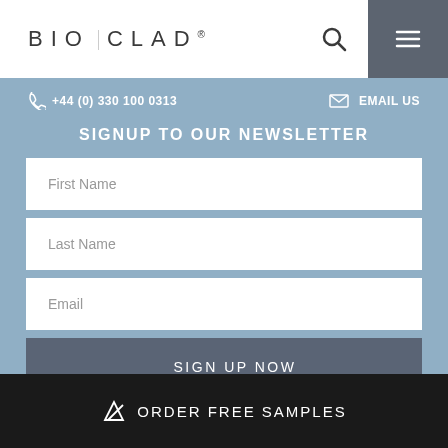BIO|CLAD®
+44 (0) 330 100 0313
EMAIL US
SIGNUP TO OUR NEWSLETTER
First Name
Last Name
Email
SIGN UP NOW
ORDER FREE SAMPLES